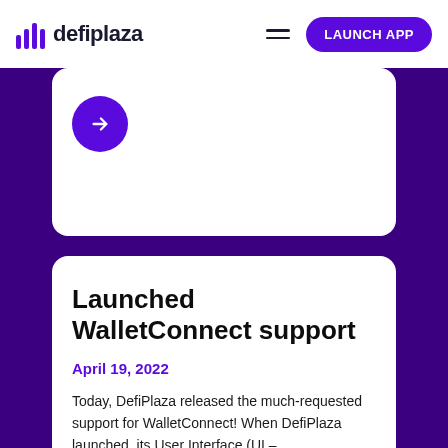defiplaza — LAUNCH APP
[Figure (screenshot): Purple circular arrow button on a white card]
Launched WalletConnect support
April 19, 2022
Today, DefiPlaza released the much-requested support for WalletConnect! When DefiPlaza launched, its User Interface (UI –...